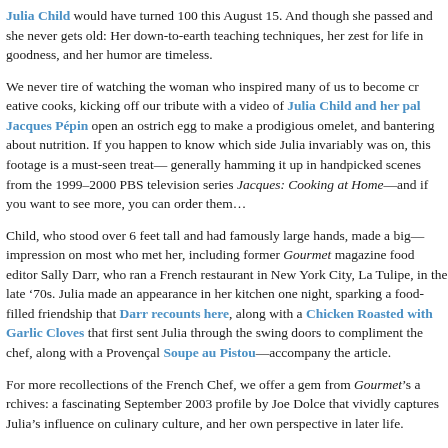Julia Child would have turned 100 this August 15. And though she passed away, she never gets old: Her down-to-earth teaching techniques, her zest for life in goodness, and her humor are timeless.
We never tire of watching the woman who inspired many of us to become cooks, kicking off our tribute with a video of Julia Child and her pal Jacques Pépin open an ostrich egg to make a prodigious omelet, and bantering about nutrition. happen to know which side Julia invariably was on, this footage is a must-see generally hamming it up in handpicked scenes from the 1999–2000 PBS television Jacques: Cooking at Home—and if you want to see more, you can order the...
Child, who stood over 6 feet tall and had famously large hands, made a big impression on most who met her, including former Gourmet magazine food editor Sally Darr, who ran a French restaurant in New York City, La Tulipe, in the late '70s. Julia made an appearance in her kitchen one night, sparking a food-filled friendship that Darr recounts here, along with a Chicken Roasted with Garlic Cloves that first sent Julia through the swing doors to compliment the chef, along with a Provençal Soupe au Pistou—accompany the article.
For more recollections of the French Chef, we offer a gem from Gourmet's archives: a fascinating September 2003 profile by Joe Dolce that vividly captures Julia's influence on culinary culture, and her own perspective in later life.
Read on for 10 Questions for the Smithsonian Curators Who Cooked Up the Julia Child Exhibit. This favorite at the National Museum of American History will again be open to September 3, to coincide with the chef's centennial, then closed until November as centerpiece of a major new installation, Food: Transforming the American Table. Both Johnson and Duncan Green, who both worked with Child, offer an inside look...